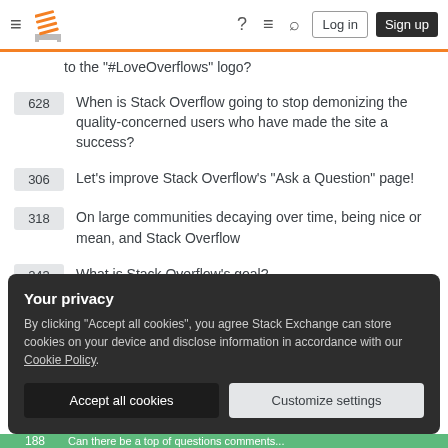Stack Overflow navigation bar with hamburger menu, logo, help, chat, search icons, Log in and Sign up buttons
to the "#LoveOverflows" logo?
628 — When is Stack Overflow going to stop demonizing the quality-concerned users who have made the site a success?
306 — Let's improve Stack Overflow's "Ask a Question" page!
318 — On large communities decaying over time, being nice or mean, and Stack Overflow
243 — What is Stack Overflow's goal?
217 — How do you know Stack Overflow feels unwelcoming?
207 — Ask a question template v1 experiment results
Your privacy — By clicking "Accept all cookies", you agree Stack Exchange can store cookies on your device and disclose information in accordance with our Cookie Policy. [Accept all cookies] [Customize settings]